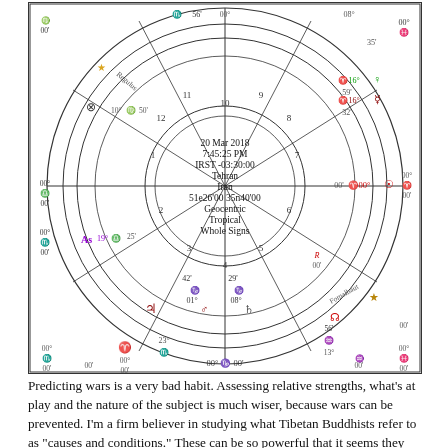[Figure (other): Astrological natal chart wheel for 20 Mar 2018, 7:45:25 PM, IRST -03:30:00, Tehran, Iran, 51e26'00 35n40'00, Geocentric, Tropical, Whole Signs. Shows planetary positions including Sun, Moon, Venus, Mercury, Mars, Jupiter, Saturn, and various house cusps with degrees.]
Predicting wars is a very bad habit. Assessing relative strengths, what's at play and the nature of the subject is much wiser, because wars can be prevented. I'm a firm believer in studying what Tibetan Buddhists refer to as "causes and conditions." These can be so powerful that it seems they cannot be resisted. The fact is, we do not live...